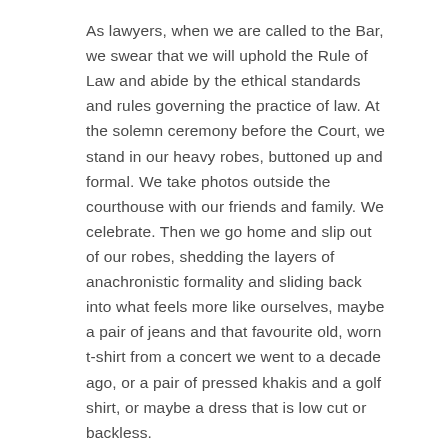As lawyers, when we are called to the Bar, we swear that we will uphold the Rule of Law and abide by the ethical standards and rules governing the practice of law. At the solemn ceremony before the Court, we stand in our heavy robes, buttoned up and formal. We take photos outside the courthouse with our friends and family. We celebrate. Then we go home and slip out of our robes, shedding the layers of anachronistic formality and sliding back into what feels more like ourselves, maybe a pair of jeans and that favourite old, worn t-shirt from a concert we went to a decade ago, or a pair of pressed khakis and a golf shirt, or maybe a dress that is low cut or backless.